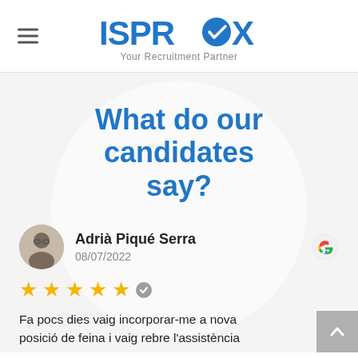[Figure (logo): ISPROX logo with 'Your Recruitment Partner' tagline and hamburger menu icon]
What do our candidates say?
Adrià Piqué Serra
08/07/2022
★★★★★
Fa pocs dies vaig incorporar-me a nova posició de feina i vaig rebre l'assistència